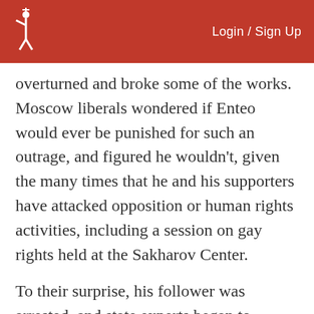Login / Sign Up
overturned and broke some of the works. Moscow liberals wondered if Enteo would ever be punished for such an outrage, and figured he wouldn't, given the many times that he and his supporters have attacked opposition or human rights activities, including a session on gay rights held at the Sakharov Center.
To their surprise, his follower was arrested, and state experts began to